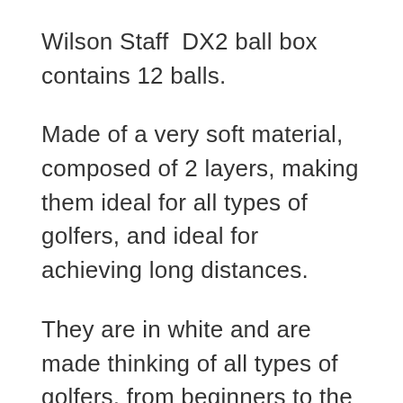Wilson Staff DX2 ball box contains 12 balls.
Made of a very soft material, composed of 2 layers, making them ideal for all types of golfers, and ideal for achieving long distances.
They are in white and are made thinking of all types of golfers, from beginners to the most veteran, reducing to the minimum the possibility of spin in the drive.